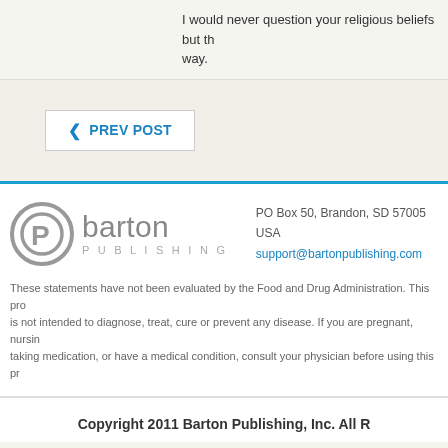I would never question your religious beliefs but th... way.
‹ PREV POST
[Figure (logo): Barton Publishing logo with circular P icon and 'barton Publishing' wordmark in grey]
PO Box 50, Brandon, SD 57005 USA
support@bartonpublishing.com
These statements have not been evaluated by the Food and Drug Administration. This pro... is not intended to diagnose, treat, cure or prevent any disease. If you are pregnant, nursin... taking medication, or have a medical condition, consult your physician before using this pr...
Copyright 2011 Barton Publishing, Inc. All R...